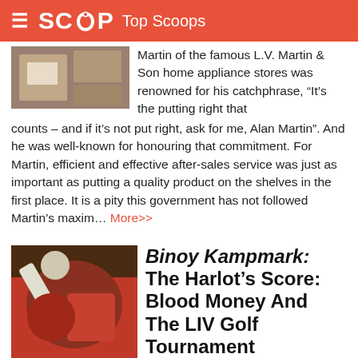SCOOP Top Scoops
Martin of the famous L.V. Martin & Son home appliance stores was renowned for his catchphrase, “It’s the putting right that counts – and if it’s not put right, ask for me, Alan Martin”. And he was well-known for honouring that commitment. For Martin, efficient and effective after-sales service was just as important as putting a quality product on the shelves in the first place. It is a pity this government has not followed Martin’s maxim... More>>
Binoy Kampmark: The Harlot’s Score: Blood Money And The LIV Golf Tournament
It has been a hobbyhorse of Greg Norman for years: a threatening, alternative golf tournament to draw the stars and undermine the musty establishment. Realising a most dubious project, the LIV Tournament has become blood money’s greatest symbol. Funded by the Kingdom of Saudi Arabia, it is a most noisy statement of